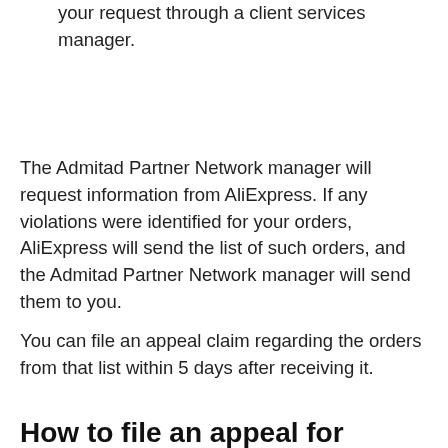your request through a client services manager.
The Admitad Partner Network manager will request information from AliExpress. If any violations were identified for your orders, AliExpress will send the list of such orders, and the Admitad Partner Network manager will send them to you.
You can file an appeal claim regarding the orders from that list within 5 days after receiving it.
How to file an appeal for orders with violations if the funds for them have not